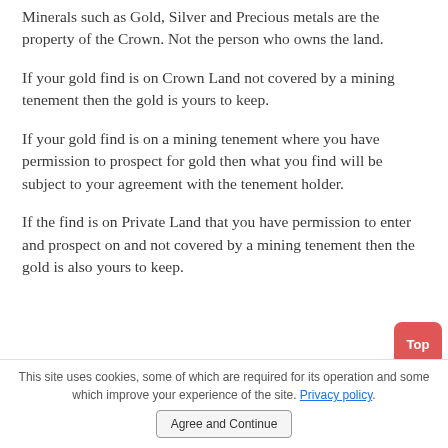Minerals such as Gold, Silver and Precious metals are the property of the Crown. Not the person who owns the land.
If your gold find is on Crown Land not covered by a mining tenement then the gold is yours to keep.
If your gold find is on a mining tenement where you have permission to prospect for gold then what you find will be subject to your agreement with the tenement holder.
If the find is on Private Land that you have permission to enter and prospect on and not covered by a mining tenement then the gold is also yours to keep.
This site uses cookies, some of which are required for its operation and some which improve your experience of the site. Privacy policy  Agree and Continue